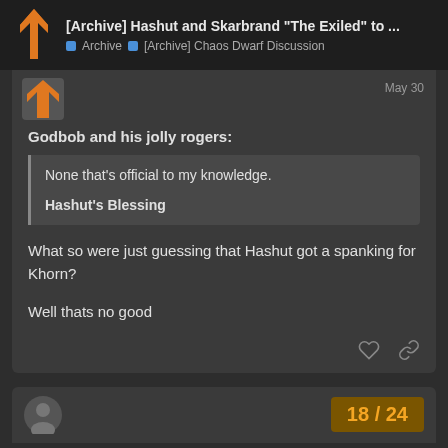[Archive] Hashut and Skarbrand "The Exiled" to ... | Archive | [Archive] Chaos Dwarf Discussion
Godbob and his jolly rogers:
None that's official to my knowledge.
Hashut's Blessing
What so were just guessing that Hashut got a spanking for Khorn?

Well thats no good
18 / 24